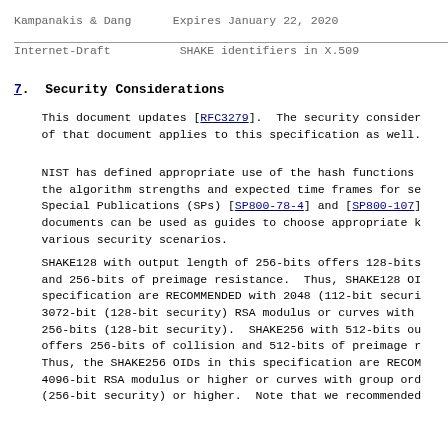Kampanakis & Dang        Expires January 22, 2020
Internet-Draft           SHAKE identifiers in X.509
7.  Security Considerations
This document updates [RFC3279].  The security consider ations of that document applies to this specification as well.
NIST has defined appropriate use of the hash functions and the algorithm strengths and expected time frames for security in Special Publications (SPs) [SP800-78-4] and [SP800-107]. These documents can be used as guides to choose appropriate keys for various security scenarios.
SHAKE128 with output length of 256-bits offers 128-bits of collision and 256-bits of preimage resistance.  Thus, SHAKE128 OIDs in this specification are RECOMMENDED with 2048 (112-bit security) or 3072-bit (128-bit security) RSA modulus or curves with group order of 256-bits (128-bit security).  SHAKE256 with 512-bits output length offers 256-bits of collision and 512-bits of preimage resistance. Thus, the SHAKE256 OIDs in this specification are RECOMMENDED with 4096-bit RSA modulus or higher or curves with group order of 512-bits (256-bit security) or higher.  Note that we recommended